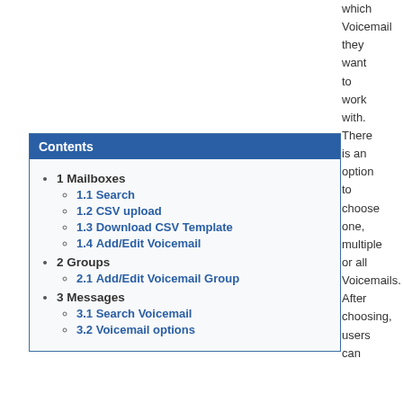which Voicemail they want to work with. There is an option to choose one, multiple or all Voicemails. After choosing, users can
Contents
1 Mailboxes
1.1 Search
1.2 CSV upload
1.3 Download CSV Template
1.4 Add/Edit Voicemail
2 Groups
2.1 Add/Edit Voicemail Group
3 Messages
3.1 Search Voicemail
3.2 Voicemail options